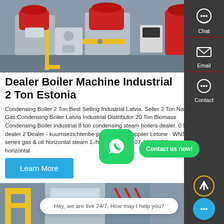[Figure (photo): Industrial boiler machines with red burner heads and yellow pipes in a factory/plant setting]
Dealer Boiler Machine Industrial 2 Ton Estonia
Condensing Boiler 2 Ton Best Selling Industrial Latvia. Seller 2 Ton Natural Gas Condensing Boiler Latvia Industrial Distributor 20 Ton Biomass Condensing Boiler industrial 8 ton condensing steam boilers dealer. 0 5 gas dealer 2 Dealer - kuurnsezichtenbe prices of 25 Supplier Letone · WNS series gas & oil horizontal steam 1-/hour hot water 07-14MW 2 factory horizontal
[Figure (photo): Industrial boiler room with yellow railings and pipes, blue and silver equipment]